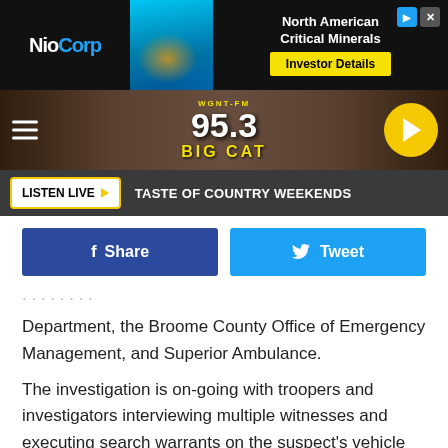[Figure (screenshot): Ad banner with NioCorp logo on left, map of USA in center, North American Critical Minerals / Investor Details ad on right]
[Figure (screenshot): WGNT-FM 95.3 Big Cat radio station header with hamburger menu, logo, and play button]
[Figure (screenshot): Listen Live button bar with text TASTE OF COUNTRY WEEKENDS]
[Figure (screenshot): Facebook Share and Twitter Tweet social buttons]
Department, the Broome County Office of Emergency Management, and Superior Ambulance.
The investigation is on-going with troopers and investigators interviewing multiple witnesses and executing search warrants on the suspect's vehicle and residence.
This article is published in partnership with AllOtsego.com
Sponsors